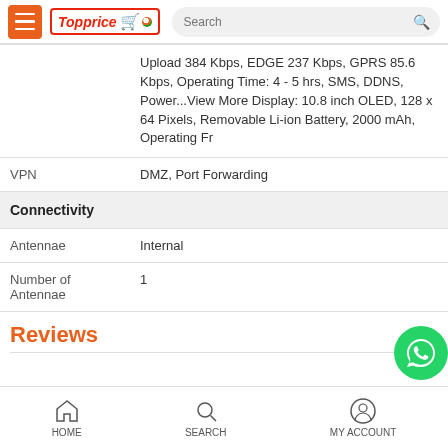Topprice - Search
|  | Upload 384 Kbps, EDGE 237 Kbps, GPRS 85.6 Kbps, Operating Time: 4 - 5 hrs, SMS, DDNS, Power...View More Display: 10.8 inch OLED, 128 x 64 Pixels, Removable Li-ion Battery, 2000 mAh, Operating Fr |
| VPN | DMZ, Port Forwarding |
| Connectivity |  |
| Antennae | Internal |
| Number of Antennae | 1 |
Reviews
HOME  SEARCH  MY ACCOUNT